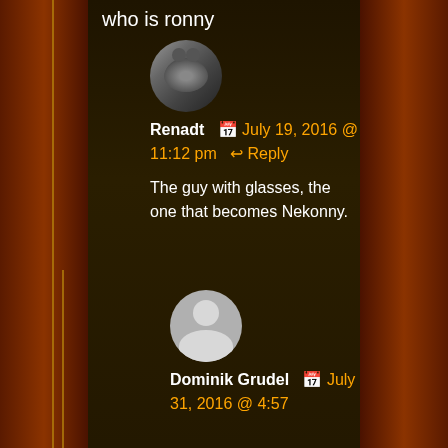who is ronny
Renadt 📅 July 19, 2016 @ 11:12 pm ↩ Reply
The guy with glasses, the one that becomes Nekonny.
Dominik Grudel 📅 July 31, 2016 @ 4:57